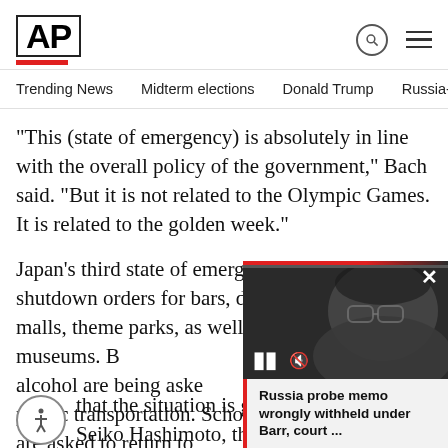AP
Trending News  Midterm elections  Donald Trump  Russia-Ukr
“This (state of emergency) is absolutely in line with the overall policy of the government,” Bach said. “But it is not related to the Olympic Games. It is related to the golden week.”
Japan’s third state of emergency is to include shutdown orders for bars, department stores, malls, theme parks, as well as theaters and museums. Restaurants that do not serve alcohol are being asked to close, as well as public transportation. Schools and universities are asked to return to …
[Figure (screenshot): Video overlay showing a man in glasses (William Barr) with video playback controls (pause and mute buttons) and a close (X) button. Red progress bar at top.]
Russia probe memo wrongly withheld under Barr, court ...
… that the situation is going … possible,” Seiko Hashimoto, the pr…